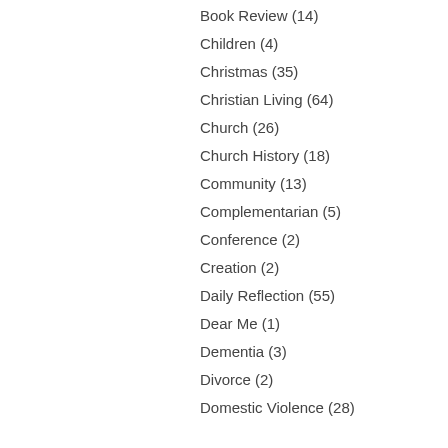Book Review (14)
Children (4)
Christmas (35)
Christian Living (64)
Church (26)
Church History (18)
Community (13)
Complementarian (5)
Conference (2)
Creation (2)
Daily Reflection (55)
Dear Me (1)
Dementia (3)
Divorce (2)
Domestic Violence (28)